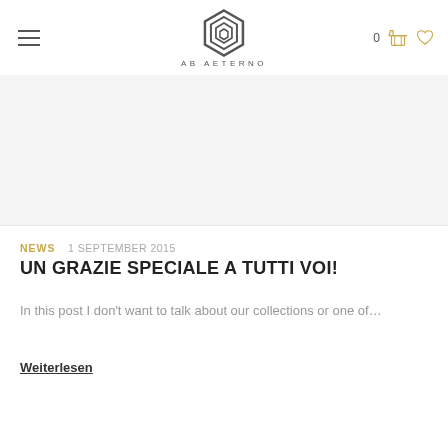[Figure (logo): AB AETERNO brand logo — geometric hexagonal spiral shape in dark gray with text 'AB AETERNO' below]
[Figure (photo): Blank/white image placeholder area below header]
NEWS  1 SEPTEMBER 2015
UN GRAZIE SPECIALE A TUTTI VOI!
In this post I don't want to talk about our collections or one of...
Weiterlesen